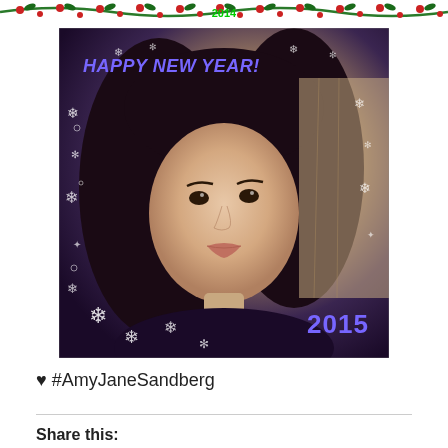[Figure (photo): Decorative holiday banner with red and green ornaments and '2014' text in green at the top of the page]
[Figure (photo): Selfie photo of a young woman with dark hair, overlaid with a New Year's filter showing snowflakes, 'HAPPY NEW YEAR!' text in purple/blue, and '2015' in the bottom right corner]
♥ #AmyJaneSandberg
Share this: